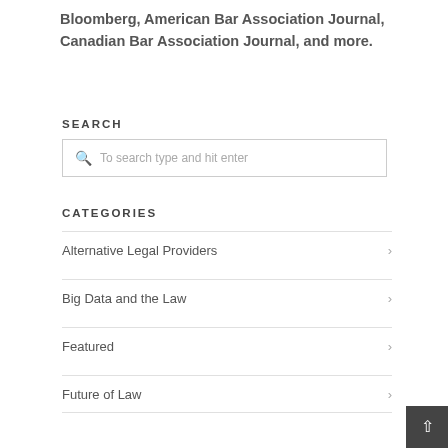Bloomberg, American Bar Association Journal, Canadian Bar Association Journal, and more.
SEARCH
To search type and hit enter
CATEGORIES
Alternative Legal Providers
Big Data and the Law
Featured
Future of Law